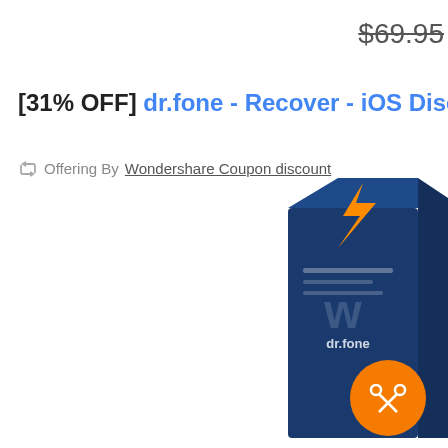$69.95 (strikethrough price)
[31% OFF] dr.fone - Recover - iOS Discount code
Offering By Wondershare Coupon discount
[Figure (illustration): Dr.fone software product box (blue box with orange lightning bolt logo) and an orange circular scissors/coupon badge in the lower right area]